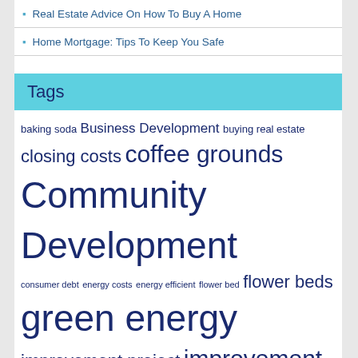Real Estate Advice On How To Buy A Home
Home Mortgage: Tips To Keep You Safe
Tags
baking soda Business Development buying real estate closing costs coffee grounds Community Development consumer debt energy costs energy efficient flower bed flower beds green energy improvement project improvement projects indoor plants interest rate knee pads landscaping project laundry basket mortgage application mortgage lender mortgage loan mortgage payments mortgage process native plants natural fabrics organic garden organic gardener organic gardening organic horticulture